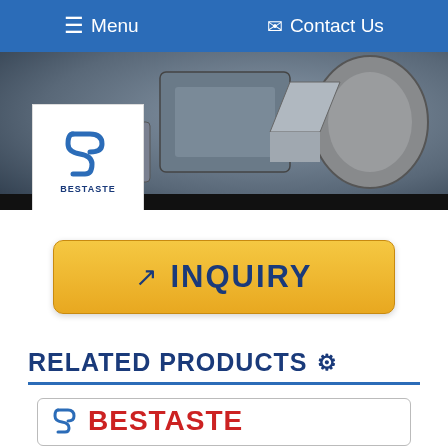☰ Menu   ✉ Contact Us
[Figure (photo): Hero image showing industrial food processing machinery in stainless steel, with the Bestaste logo overlaid on the left side.]
INQUIRY
RELATED PRODUCTS ⚙
[Figure (logo): Bestaste brand logo with blue stylized S icon and red BESTASTE text, inside a bordered card, with two circular product images below.]